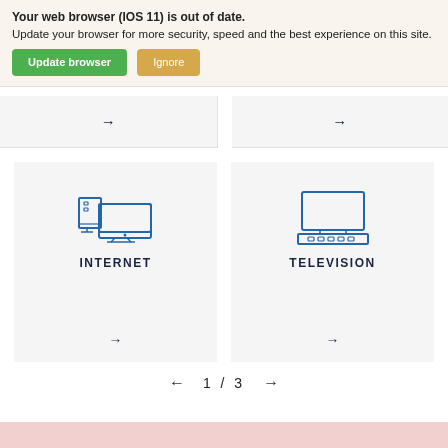Your web browser (IOS 11) is out of date. Update your browser for more security, speed and the best experience on this site.
Update browser  Ignore
[Figure (illustration): Arrow pointing right in a light grey card (top-left, partially visible)]
[Figure (illustration): Arrow pointing right in a light grey card (top-right, partially visible)]
[Figure (illustration): Internet icon: desktop computer tower and monitor outline in blue, labeled INTERNET with right arrow]
[Figure (illustration): Television icon: flat screen TV on stand outline in blue, labeled TELEVISION with right arrow]
1 / 3